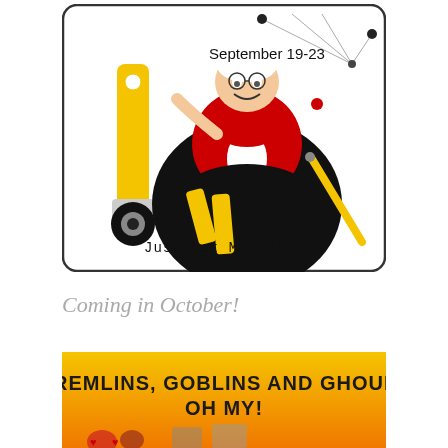[Figure (illustration): Cartoon illustration of a queen-of-hearts style character wearing a red and black dress, holding a yellow rotary cutter. Text reads 'September 19-23' at top and 'Just Let Me Quilt' at bottom. Bordered with rounded rectangle.]
Coming in October!
[Figure (illustration): Yellow/orange banner graphic with bold gothic text reading 'GREMLINS, GOBLINS AND GHOULS OH MY!' with partial Halloween imagery visible at bottom.]